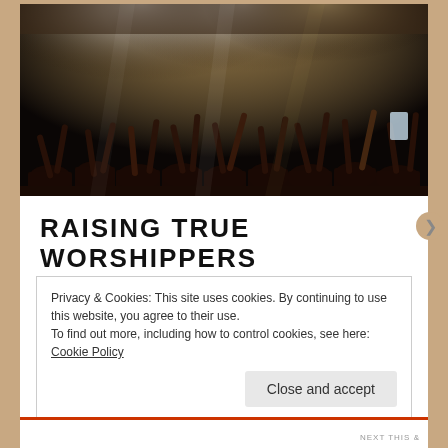[Figure (photo): Concert crowd with hands raised, silhouetted against bright stage lights. Dark atmospheric image with warm backlight.]
RAISING TRUE WORSHIPPERS
Oct 7, 2020   13 Comments
Privacy & Cookies: This site uses cookies. By continuing to use this website, you agree to their use. To find out more, including how to control cookies, see here: Cookie Policy
Close and accept